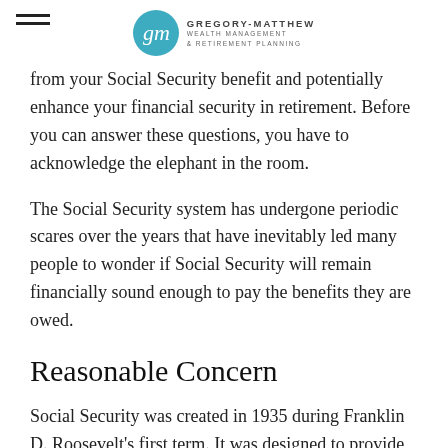Gregory-Matthew Wealth Management & Retirement Planning
from your Social Security benefit and potentially enhance your financial security in retirement. Before you can answer these questions, you have to acknowledge the elephant in the room.
The Social Security system has undergone periodic scares over the years that have inevitably led many people to wonder if Social Security will remain financially sound enough to pay the benefits they are owed.
Reasonable Concern
Social Security was created in 1935 during Franklin D. Roosevelt's first term. It was designed to provide income to older Americans who had little to no means of support. The country was mired in an economic downturn and the need for...